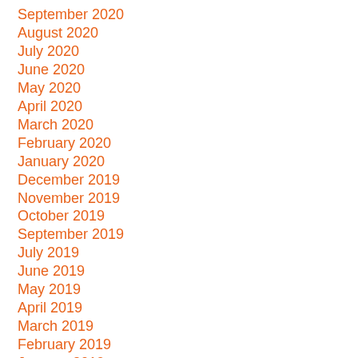September 2020
August 2020
July 2020
June 2020
May 2020
April 2020
March 2020
February 2020
January 2020
December 2019
November 2019
October 2019
September 2019
July 2019
June 2019
May 2019
April 2019
March 2019
February 2019
January 2019